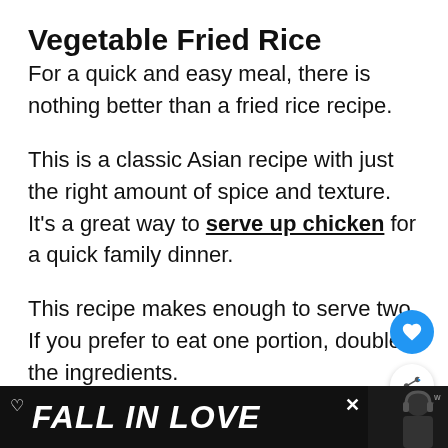Vegetable Fried Rice
For a quick and easy meal, there is nothing better than a fried rice recipe.
This is a classic Asian recipe with just the right amount of spice and texture. It’s a great way to serve up chicken for a quick family dinner.
This recipe makes enough to serve two. If you prefer to eat one portion, double the ingredients.
[Figure (other): Advertisement banner: dark background with 'FALL IN LOVE' text in large italic white font, a heart icon, a close X button, and a person with headphones on the right side alongside a Tidal logo.]